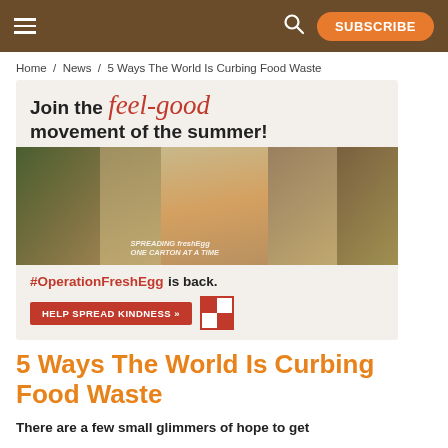Navigation bar with hamburger menu, search icon, and SUBSCRIBE button
Home / News / 5 Ways The World Is Curbing Food Waste
[Figure (photo): Advertisement banner for #OperationFreshEgg campaign. Text reads: 'Join the feel-good movement of the summer!' with a collage of photos showing people and eggs, hashtag #OperationFreshEgg is back. HELP SPREAD KINDNESS button and Purina logo.]
5 Ways The World Is Curbing Food Waste
There are a few small glimmers of hope to get